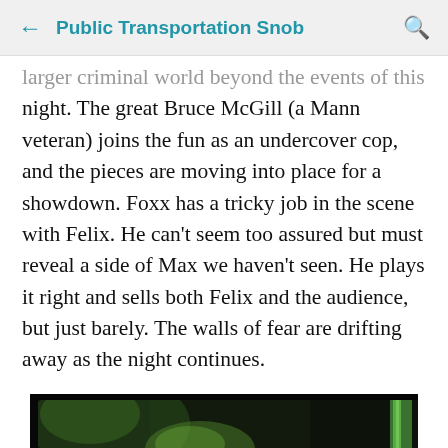← Public Transportation Snob 🔍
larger criminal world beyond the events of this night. The great Bruce McGill (a Mann veteran) joins the fun as an undercover cop, and the pieces are moving into place for a showdown. Foxx has a tricky job in the scene with Felix. He can't seem too assured but must reveal a side of Max we haven't seen. He plays it right and sells both Felix and the audience, but just barely. The walls of fear are drifting away as the night continues.
[Figure (photo): A dark nighttime scene showing a man's face partially lit with a greenish light, seemingly from a neon pole or street fixture. The scene is very dark and moody, consistent with a film noir or action movie still.]